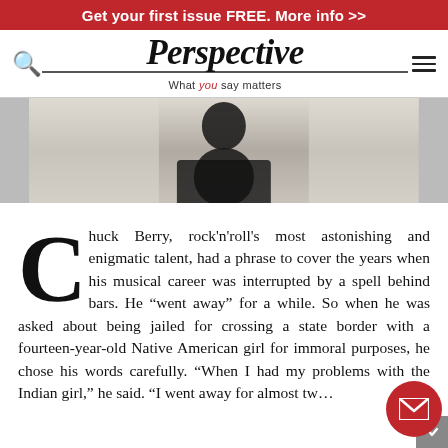Get your first issue FREE. More info >>
Perspective — What you say matters
[Figure (photo): Black and white photo of a person, partially visible, cropped at the top of the page]
Chuck Berry, rock'n'roll's most astonishing and enigmatic talent, had a phrase to cover the years when his musical career was interrupted by a spell behind bars. He "went away" for a while. So when he was asked about being jailed for crossing a state border with a fourteen-year-old Native American girl for immoral purposes, he chose his words carefully. "When I had my problems with the Indian girl," he said. "I went away for almost tw...